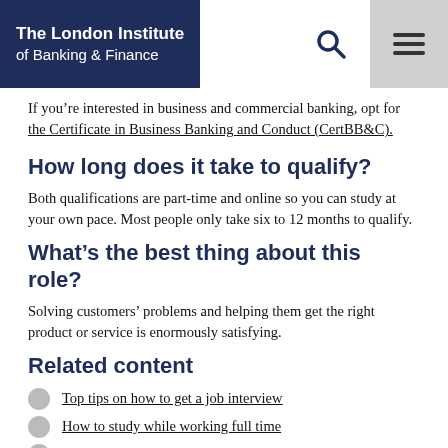The London Institute of Banking & Finance
If you’re interested in business and commercial banking, opt for the Certificate in Business Banking and Conduct (CertBB&C).
How long does it take to qualify?
Both qualifications are part-time and online so you can study at your own pace. Most people only take six to 12 months to qualify.
What’s the best thing about this role?
Solving customers’ problems and helping them get the right product or service is enormously satisfying.
Related content
Top tips on how to get a job interview
How to study while working full time
The top skills you need to work in financial services